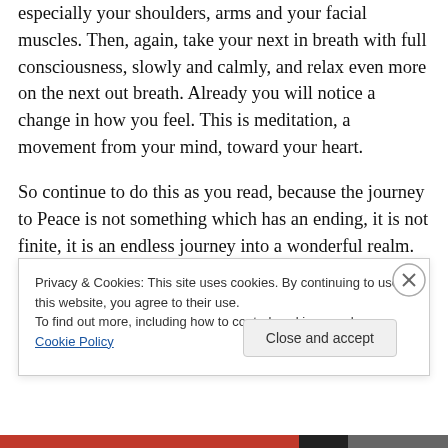especially your shoulders, arms and your facial muscles. Then, again, take your next in breath with full consciousness, slowly and calmly, and relax even more on the next out breath. Already you will notice a change in how you feel. This is meditation, a movement from your mind, toward your heart.
So continue to do this as you read, because the journey to Peace is not something which has an ending, it is not finite, it is an endless journey into a wonderful realm. The mind likes Peace to be something you can attain, because then, when Peace had been attained, it can get busy with
Privacy & Cookies: This site uses cookies. By continuing to use this website, you agree to their use.
To find out more, including how to control cookies, see here: Cookie Policy
Close and accept